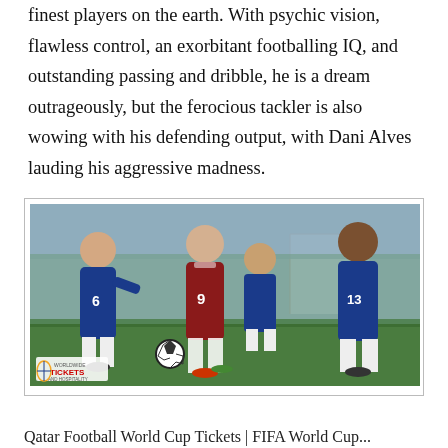finest players on the earth. With psychic vision, flawless control, an exorbitant footballing IQ, and outstanding passing and dribble, he is a dream outrageously, but the ferocious tackler is also wowing with his defending output, with Dani Alves lauding his aggressive madness.
[Figure (photo): Soccer match photo showing a Spain player (#9, red jersey) dribbling between two Italy players (#6 and #13, blue jerseys), with another Italy player in the background. A soccer ball is visible near their feet on a green pitch. A Worldwide Tickets and Hospitality logo watermark appears in the lower left.]
Qatar Football World Cup Tickets | FIFA World Cup...